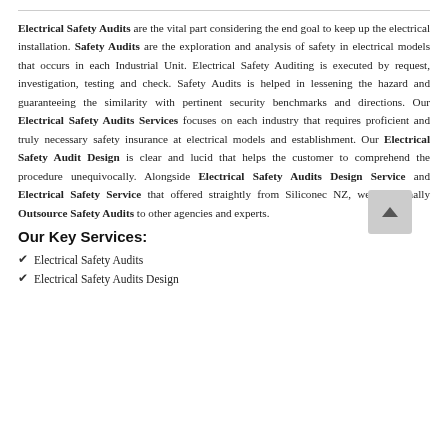Electrical Safety Audits are the vital part considering the end goal to keep up the electrical installation. Safety Audits are the exploration and analysis of safety in electrical models that occurs in each Industrial Unit. Electrical Safety Auditing is executed by request, investigation, testing and check. Safety Audits is helped in lessening the hazard and guaranteeing the similarity with pertinent security benchmarks and directions. Our Electrical Safety Audits Services focuses on each industry that requires proficient and truly necessary safety insurance at electrical models and establishment. Our Electrical Safety Audit Design is clear and lucid that helps the customer to comprehend the procedure unequivocally. Alongside Electrical Safety Audits Design Service and Electrical Safety Service that offered straightly from Siliconec NZ, we additionally Outsource Safety Audits to other agencies and experts.
Our Key Services:
Electrical Safety Audits
Electrical Safety Audits Design